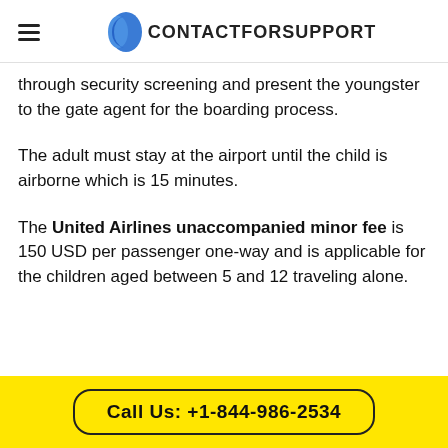CONTACTFORSUPPORT
through security screening and present the youngster to the gate agent for the boarding process.
The adult must stay at the airport until the child is airborne which is 15 minutes.
The United Airlines unaccompanied minor fee is 150 USD per passenger one-way and is applicable for the children aged between 5 and 12 traveling alone.
Call Us: +1-844-986-2534